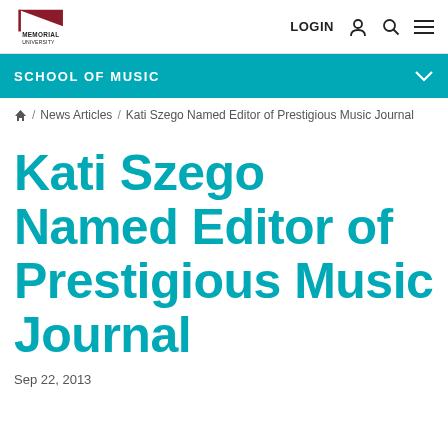Memorial University — LOGIN
SCHOOL OF MUSIC
🏠 / News Articles / Kati Szego Named Editor of Prestigious Music Journal
Kati Szego Named Editor of Prestigious Music Journal
Sep 22, 2013